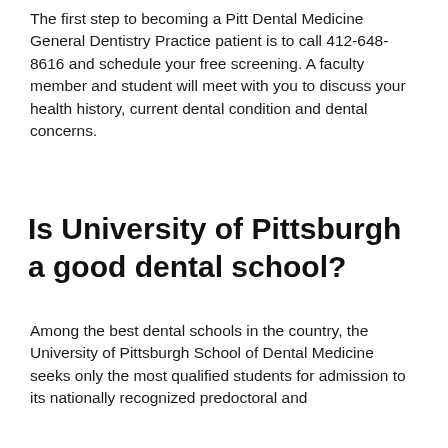The first step to becoming a Pitt Dental Medicine General Dentistry Practice patient is to call 412-648-8616 and schedule your free screening. A faculty member and student will meet with you to discuss your health history, current dental condition and dental concerns.
Is University of Pittsburgh a good dental school?
Among the best dental schools in the country, the University of Pittsburgh School of Dental Medicine seeks only the most qualified students for admission to its nationally recognized predoctoral and